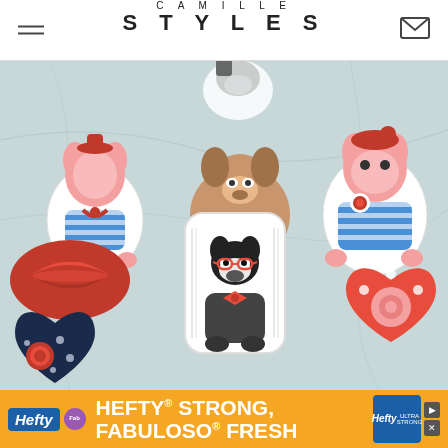CAMILLE STYLES
[Figure (photo): Decorated sugar cookies on a marble surface including dog-shaped cookies in striped sailor outfits with red accents, heart-shaped cookies, lip-shaped cookies, and a framed bulldog cookie with red bow tie and glasses, in a Valentine's Day style.]
[Figure (infographic): Advertisement banner: Hefty STRONG, Fabuloso FRESH - orange background with Hefty and Fabuloso brand logos and product imagery.]